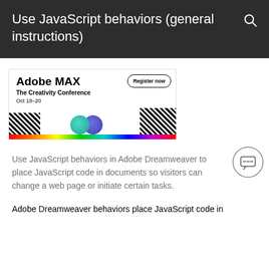Use JavaScript behaviors (general instructions)
[Figure (illustration): Adobe MAX – The Creativity Conference, Oct 18–20 advertisement banner with Register now button, colorful graphics including teal and blue overlapping circles, diagonal hatch patterns, and a rainbow color bar at the bottom.]
Use JavaScript behaviors in Adobe Dreamweaver to place JavaScript code in documents so visitors can change a web page or initiate certain tasks.
Adobe Dreamweaver behaviors place JavaScript code in